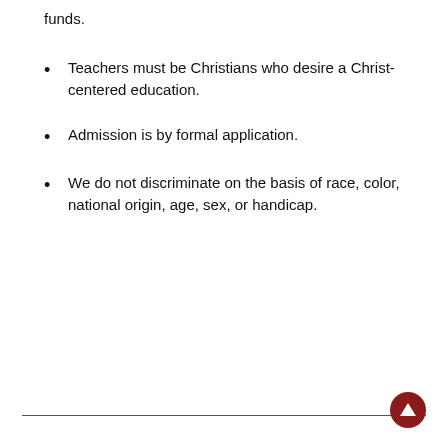funds.
Teachers must be Christians who desire a Christ-centered education.
Admission is by formal application.
We do not discriminate on the basis of race, color, national origin, age, sex, or handicap.